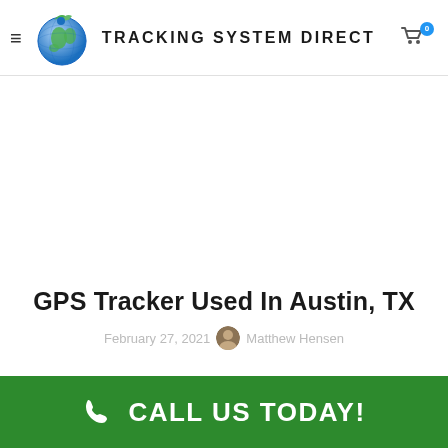Tracking System Direct
GPS Tracker Used In Austin, TX
February 27, 2021  Matthew Hensen
CALL US TODAY!